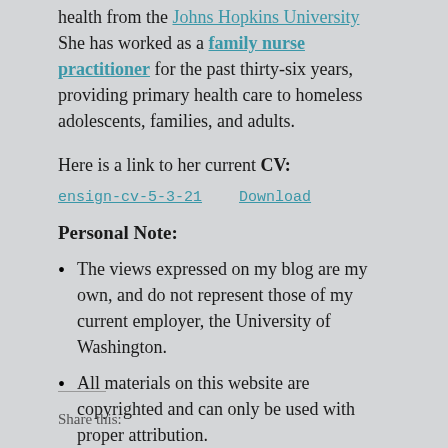health from the Johns Hopkins University She has worked as a family nurse practitioner for the past thirty-six years, providing primary health care to homeless adolescents, families, and adults.
Here is a link to her current CV:
ensign-cv-5-3-21    Download
Personal Note:
The views expressed on my blog are my own, and do not represent those of my current employer, the University of Washington.
All materials on this website are copyrighted and can only be used with proper attribution.
Share this: